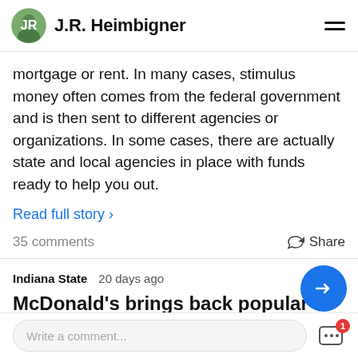J.R. Heimbigner
mortgage or rent. In many cases, stimulus money often comes from the federal government and is then sent to different agencies or organizations. In some cases, there are actually state and local agencies in place with funds ready to help you out.
Read full story >
35 comments   Share
Indiana State   20 days ago
McDonald's brings back popular sandwich